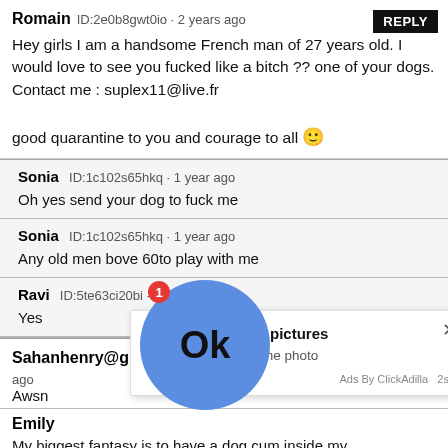Romain ID:2e0b8gwt0io · 2 years ago REPLY
Hey girls I am a handsome French man of 27 years old. I would love to see you fucked like a bitch ?? one of your dogs. Contact me : suplex11@live.fr

good quarantine to you and courage to all 🙂
Sonia ID:1c102s65hkq · 1 year ago
Oh yes send your dog to fuck me
Sonia ID:1c102s65hkq · 1 year ago
Any old men bove 60to play with me
Ravi ID:5te63ci20bi · 1 year ago
Yes
Sahanhenry@gmail.com ID:7a96ac2oi9m · 2 years ago REPLY
Awsn
Emily
My biggest fantasy is to have a dog cum inside my
[Figure (infographic): Ad overlay popup: blue circle OK button with notification badge, ad text 'Kate sent you (5) pictures - Click OK to display the photo', close X button, footer 'Ads By ClickAdilla 2sd']